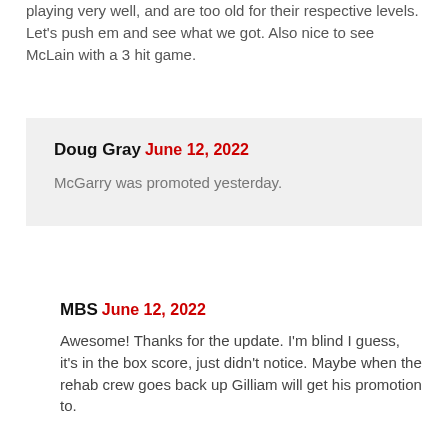playing very well, and are too old for their respective levels. Let's push em and see what we got. Also nice to see McLain with a 3 hit game.
Doug Gray June 12, 2022
McGarry was promoted yesterday.
MBS June 12, 2022
Awesome! Thanks for the update. I'm blind I guess, it's in the box score, just didn't notice. Maybe when the rehab crew goes back up Gilliam will get his promotion to.